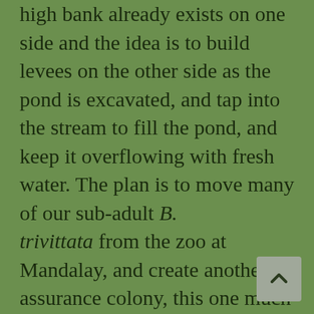high bank already exists on one side and the idea is to build levees on the other side as the pond is excavated, and tap into the stream to fill the pond, and keep it overflowing with fresh water. The plan is to move many of our sub-adult B. trivittata from the zoo at Mandalay, and create another assurance colony, this one much closer to the natural range of the species and just down the river from the project base camp and release sites.

We returned (hot and sweaty!) to a well-deserved bucket bath, had dinner, and spent the night in the new guest house at